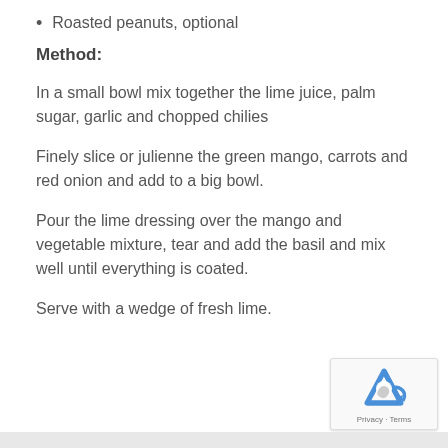Roasted peanuts, optional
Method:
In a small bowl mix together the lime juice, palm sugar, garlic and chopped chilies
Finely slice or julienne the green mango, carrots and red onion and add to a big bowl.
Pour the lime dressing over the mango and vegetable mixture, tear and add the basil and mix well until everything is coated.
Serve with a wedge of fresh lime.